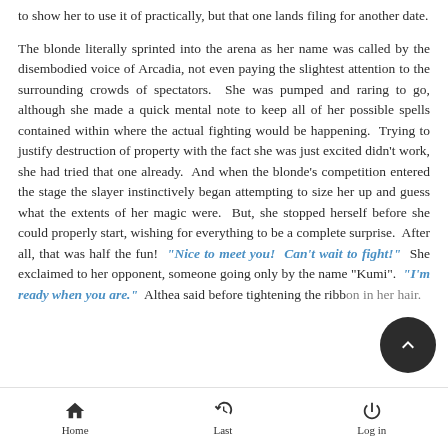...to show her to use it of practically, but that one lands filing for another date.
The blonde literally sprinted into the arena as her name was called by the disembodied voice of Arcadia, not even paying the slightest attention to the surrounding crowds of spectators. She was pumped and raring to go, although she made a quick mental note to keep all of her possible spells contained within where the actual fighting would be happening. Trying to justify destruction of property with the fact she was just excited didn't work, she had tried that one already. And when the blonde's competition entered the stage the slayer instinctively began attempting to size her up and guess what the extents of her magic were. But, she stopped herself before she could properly start, wishing for everything to be a complete surprise. After all, that was half the fun! "Nice to meet you! Can't wait to fight!" She exclaimed to her opponent, someone going only by the name "Kumi". "I'm ready when you are." Althea said before tightening the ribbon in her hair.
Home | Last | Log in